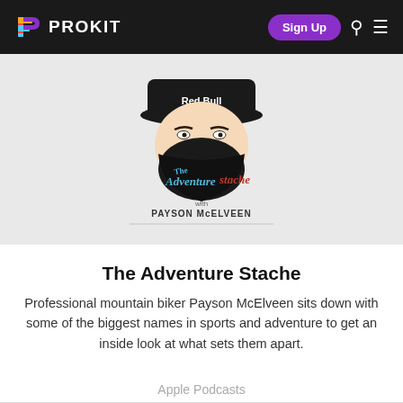PROKIT
[Figure (illustration): The Adventure Stache with Payson McElveen podcast logo: illustrated face with beard and mustache wearing a Red Bull hat, stylized text reads 'The Adventure Stache with Payson McElveen']
The Adventure Stache
Professional mountain biker Payson McElveen sits down with some of the biggest names in sports and adventure to get an inside look at what sets them apart.
Apple Podcasts